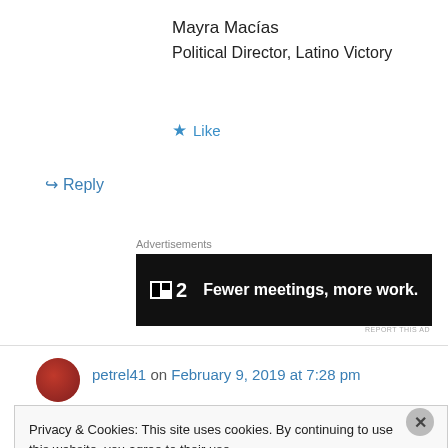Mayra Macías
Political Director, Latino Victory
★ Like
↪ Reply
Advertisements
[Figure (screenshot): Advertisement banner for P2 (formerly Planio) with black background and white text: 'Fewer meetings, more work.']
petrel41 on February 9, 2019 at 7:28 pm
Privacy & Cookies: This site uses cookies. By continuing to use this website, you agree to their use.
To find out more, including how to control cookies, see here: Cookie Policy
Close and accept